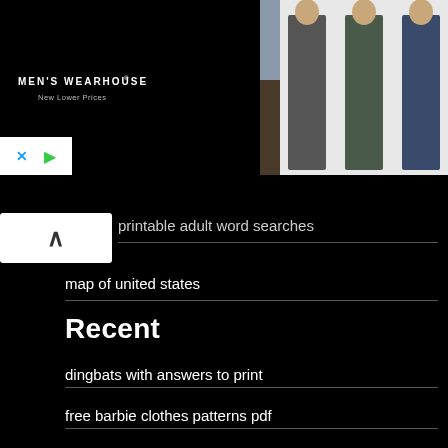[Figure (photo): Men's Wearhouse advertisement banner with couple in formal wear and suit figures on white background]
printable adult word searches
map of united states
Recent
dingbats with answers to print
free barbie clothes patterns pdf
spring adult coloring pages
printable dingbat puzzles with answers
free bingo sheets pdf
serenity prayer short version printable